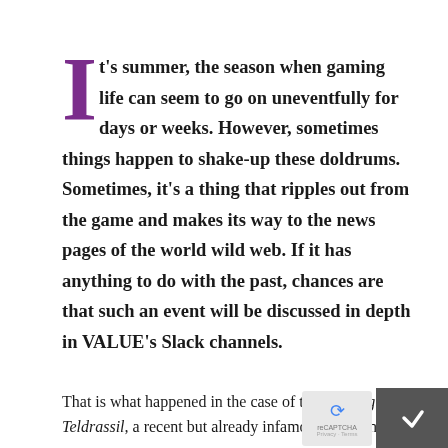It's summer, the season when gaming life can seem to go on uneventfully for days or weeks. However, sometimes things happen to shake-up these doldrums. Sometimes, it's a thing that ripples out from the game and makes its way to the news pages of the world wild web. If it has anything to do with the past, chances are that such an event will be discussed in depth in VALUE's Slack channels.
That is what happened in the case of the Burning Teldrassil, a recent but already infamous event in